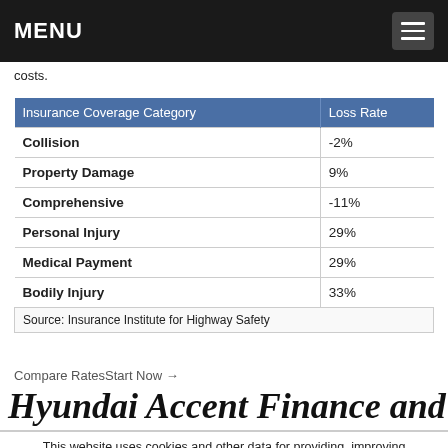MENU
costs.
| Insurance Coverage Category | Loss Rate |
| --- | --- |
| Collision | -2% |
| Property Damage | 9% |
| Comprehensive | -11% |
| Personal Injury | 29% |
| Medical Payment | 29% |
| Bodily Injury | 33% |
Compare RatesStart Now →
Hyundai Accent Finance and
This website uses cookies and other data for providing, improving our services. Get more. Got it